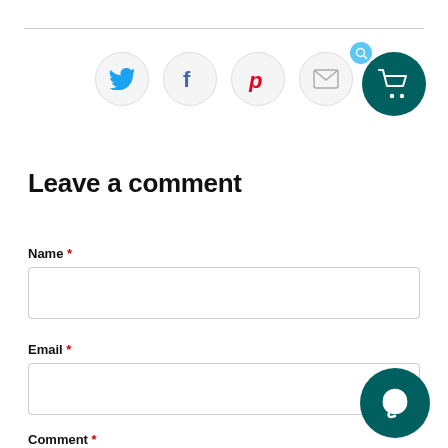[Figure (infographic): Social sharing icons row: Twitter (blue bird), Facebook (f), Pinterest (red P), Email (envelope), all in circular bordered buttons]
[Figure (infographic): Shopping cart icon in teal circle with search badge in light blue circle]
Leave a comment
Name *
Email *
Comment *
[Figure (infographic): Chat widget button in teal circle at bottom right]